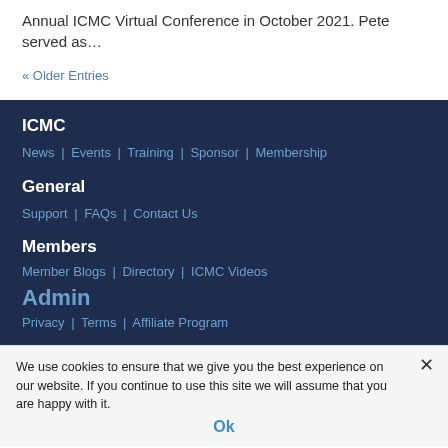Annual ICMC Virtual Conference in October 2021. Pete served as…
« Older Entries
ICMC
News | Events | Training | Sponsor | Membership
General
Support | FAQs | Contact Us
Members
Member Blogs | Directory | ICMC Videos
Admin
Privacy | Terms | Affiliate Program
We use cookies to ensure that we give you the best experience on our website. If you continue to use this site we will assume that you are happy with it.
Ok